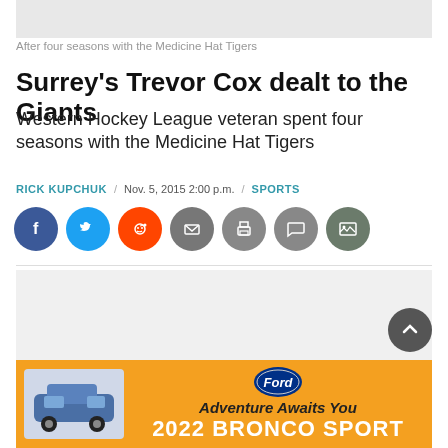[Figure (photo): Photo placeholder - after four seasons with the Medicine Hat Tigers]
After four seasons with the Medicine Hat Tigers
Surrey's Trevor Cox dealt to the Giants
Western Hockey League veteran spent four seasons with the Medicine Hat Tigers
RICK KUPCHUK / Nov. 5, 2015 2:00 p.m. / SPORTS
[Figure (infographic): Social sharing icons: Facebook, Twitter, Reddit, Email, Print, Comment, Gallery]
[Figure (photo): Advertisement placeholder]
For the first time in five years, Trevor Cox will be playing at
[Figure (infographic): Ford advertisement: Adventure Awaits You 2022 BRONCO SPORT]